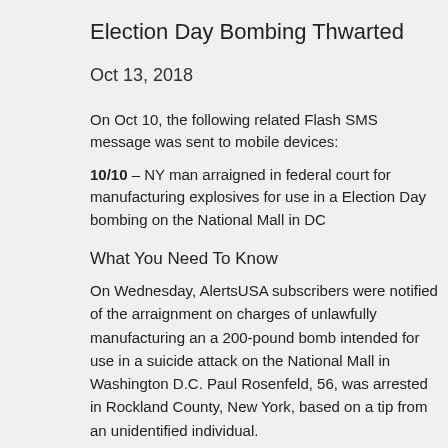Election Day Bombing Thwarted
Oct 13, 2018
On Oct 10, the following related Flash SMS message was sent to mobile devices:
10/10 – NY man arraigned in federal court for manufacturing explosives for use in a Election Day bombing on the National Mall in DC
What You Need To Know
On Wednesday, AlertsUSA subscribers were notified of the arraignment on charges of unlawfully manufacturing an a 200-pound bomb intended for use in a suicide attack on the National Mall in Washington D.C. Paul Rosenfeld, 56, was arrested in Rockland County, New York, based on a tip from an unidentified individual.
According to the federal complaint filed in the U.S. District Court for New York, Paul Rosenfeld, age 56, sent letters and text messages to people in Pennsylvania detailing his plans to build an explosive device to detonate on Election Day 2018, on the National Mall in Washington, D.C. The suspect's stated motive was to draw attention to his belief in "sortition," a political theory that government officials should be selected by lottery rather than by election.